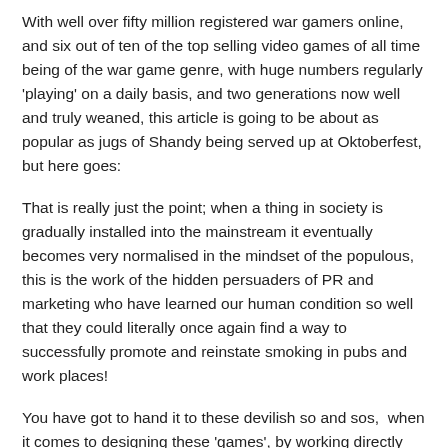With well over fifty million registered war gamers online, and six out of ten of the top selling video games of all time being of the war game genre, with huge numbers regularly 'playing' on a daily basis, and two generations now well and truly weaned, this article is going to be about as popular as jugs of Shandy being served up at Oktoberfest, but here goes:
That is really just the point; when a thing in society is gradually installed into the mainstream it eventually becomes very normalised in the mindset of the populous, this is the work of the hidden persuaders of PR and marketing who have learned our human condition so well that they could literally once again find a way to successfully promote and reinstate smoking in pubs and work places!
You have got to hand it to these devilish so and sos, when it comes to designing these 'games', by working directly with the government, top military advisors, as well as the very best people in psychology, through years of research they know very well exactly what makes us tick and turns us on.